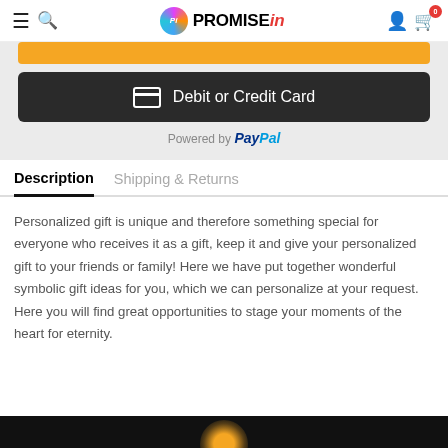PROMISE in - navigation header with logo, hamburger, search, user and cart icons
[Figure (screenshot): Yellow PayPal button (partially visible) and dark Debit or Credit Card button, Powered by PayPal text below]
Description | Shipping & Returns tabs
Personalized gift is unique and therefore something special for everyone who receives it as a gift, keep it and give your personalized gift to your friends or family! Here we have put together wonderful symbolic gift ideas for you, which we can personalize at your request. Here you will find great opportunities to stage your moments of the heart for eternity.
[Figure (photo): Partial dark image strip at bottom of page with faint sun/light element]